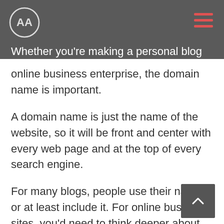Whether you're making a personal blog or an
online business enterprise, the domain name is important.
A domain name is just the name of the website, so it will be front and center with every web page and at the top of every search engine.
For many blogs, people use their name or at least include it. For online business sites, you'd need to think deeper about branding and other important considerations.